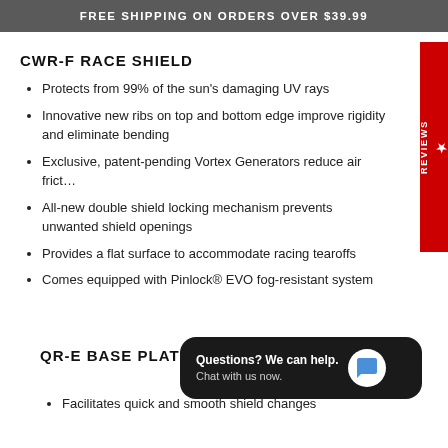FREE SHIPPING ON ORDERS OVER $39.99
CWR-F RACE SHIELD
Protects from 99% of the sun's damaging UV rays
Innovative new ribs on top and bottom edge improve rigidity and eliminate bending
Exclusive, patent-pending Vortex Generators reduce air frict…
All-new double shield locking mechanism prevents unwanted shield openings
Provides a flat surface to accommodate racing tearoffs
Comes equipped with Pinlock® EVO fog-resistant system
QR-E BASE PLATE
Facilitates quick and smooth shield changes